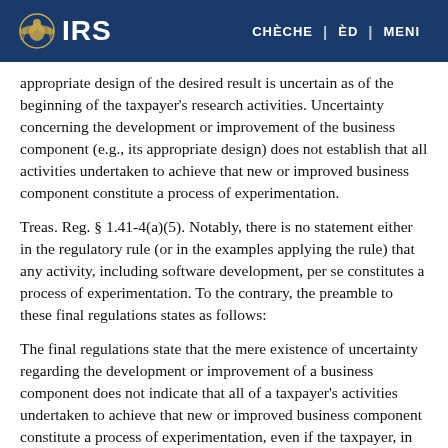IRS | CHÈCHE | ÈD | MENI
appropriate design of the desired result is uncertain as of the beginning of the taxpayer's research activities. Uncertainty concerning the development or improvement of the business component (e.g., its appropriate design) does not establish that all activities undertaken to achieve that new or improved business component constitute a process of experimentation.
Treas. Reg. § 1.41-4(a)(5). Notably, there is no statement either in the regulatory rule (or in the examples applying the rule) that any activity, including software development, per se constitutes a process of experimentation. To the contrary, the preamble to these final regulations states as follows:
The final regulations state that the mere existence of uncertainty regarding the development or improvement of a business component does not indicate that all of a taxpayer's activities undertaken to achieve that new or improved business component constitute a process of experimentation, even if the taxpayer, in fact, does achieve the new or improved business component. The Treasury Department and the IRS